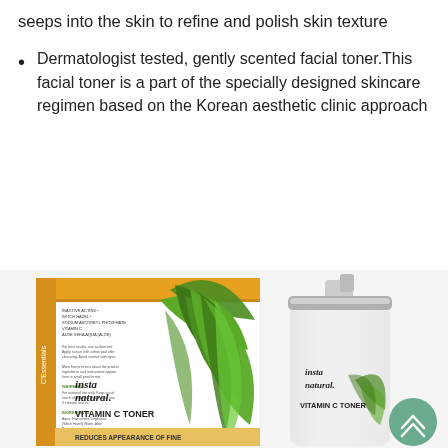seeps into the skin to refine and polish skin texture
Dermatologist tested, gently scented facial toner.This facial toner is a part of the specially designed skincare regimen based on the Korean aesthetic clinic approach
[Figure (photo): Product photo showing InstaNatural Vitamin C Toner box packaging and spray bottle. The box has an orange/gold top, white sides with text, green plant illustration, and shows 'insta natural.' branding with 'VITAMIN C TONER' and 'REDUCES APPEARANCE OF FINE' text. Next to it is a white spray bottle with silver pump cap, also labeled 'insta natural.' and 'VITAMIN C TONER'. A teal/green circular scroll-up button is visible in the bottom right.]